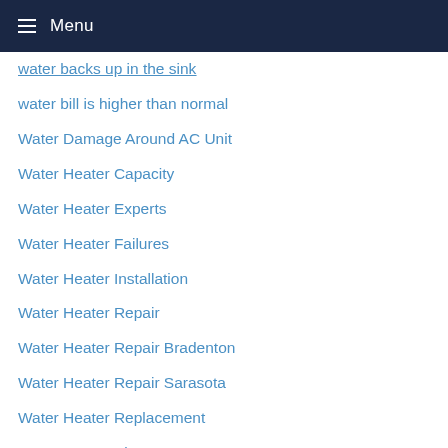Menu
water backs up in the sink
water bill is higher than normal
Water Damage Around AC Unit
Water Heater Capacity
Water Heater Experts
Water Heater Failures
Water Heater Installation
Water Heater Repair
Water Heater Repair Bradenton
Water Heater Repair Sarasota
Water Heater Replacement
Water Heater Size
water leaks
Ways to lower your AC cost in summer
Ways to lower your AC Costs this summer
well maintained air conditioner
What happens when you don't replace your air filter